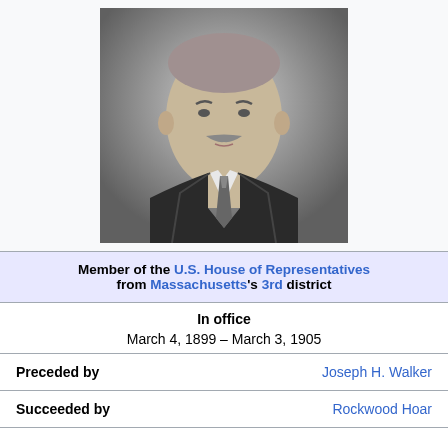[Figure (photo): Black and white portrait photograph of an older gentleman with a mustache, wearing a dark suit and patterned tie, looking slightly to the right.]
Member of the U.S. House of Representatives from Massachusetts's 3rd district
In office
March 4, 1899 – March 3, 1905
Preceded by   Joseph H. Walker
Succeeded by   Rockwood Hoar